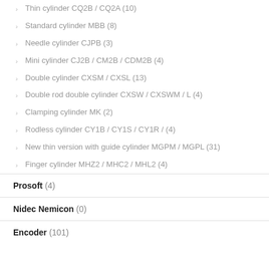Thin cylinder CQ2B / CQ2A (10)
Standard cylinder MBB (8)
Needle cylinder CJPB (3)
Mini cylinder CJ2B / CM2B / CDM2B (4)
Double cylinder CXSM / CXSL (13)
Double rod double cylinder CXSW / CXSWM / L (4)
Clamping cylinder MK (2)
Rodless cylinder CY1B / CY1S / CY1R / (4)
New thin version with guide cylinder MGPM / MGPL (31)
Finger cylinder MHZ2 / MHC2 / MHL2 (4)
Prosoft (4)
Nidec Nemicon (0)
Encoder (101)